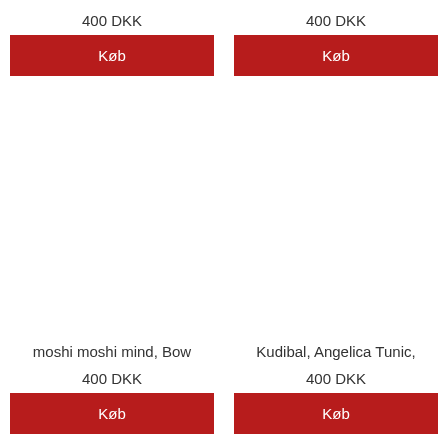400 DKK
Køb
400 DKK
Køb
moshi moshi mind, Bow
400 DKK
Køb
Kudibal, Angelica Tunic,
400 DKK
Køb